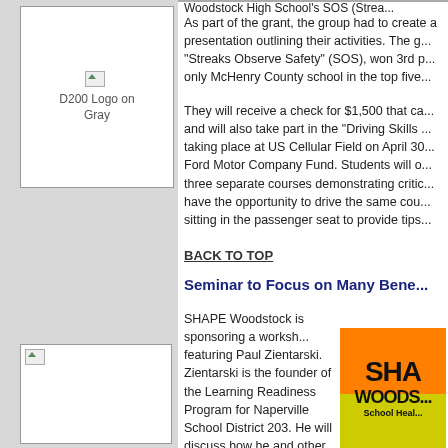[Figure (logo): D200 Logo on Gray - placeholder image with broken image icon]
Woodstock High School's SOS (Strea...
As part of the grant, the group had to create a presentation outlining their activities. The g... "Streaks Observe Safety" (SOS), won 3rd p... only McHenry County school in the top five...
They will receive a check for $1,500 that ca... and will also take part in the "Driving Skills ... taking place at US Cellular Field on April 30... Ford Motor Company Fund. Students will o... three separate courses demonstrating critic... have the opportunity to drive the same cou... sitting in the passenger seat to provide tips...
BACK TO TOP
Seminar to Focus on Many Bene...
SHAPE Woodstock is sponsoring a worksh... featuring Paul Zientarski. Zientarski is the founder of the Learning Readiness Program for Naperville School District 203. He will discuss how he and other educators have made a difference in the lives of students...
[Figure (logo): SHAPE Woodstock - School Health logo with orange and yellow/green background]
[Figure (photo): Small broken image placeholder at bottom left]